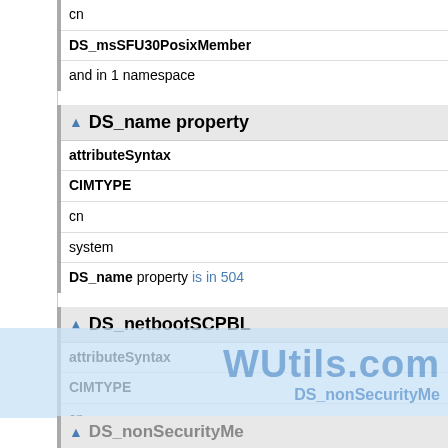| cn |
| DS_msSFU30PosixMember |
| and in 1 namespace |
DS_name property
| attributeSyntax |
| CIMTYPE |
| cn |
| system |
| DS_name property is in 504 |
DS_netbootSCPBL
| attributeSyntax |
| CIMTYPE |
| cn |
| system |
| DS_netbootSCPBL propert |
| namespace |
[Figure (other): WUtils.com watermark overlay]
DS_nonSecurityMa